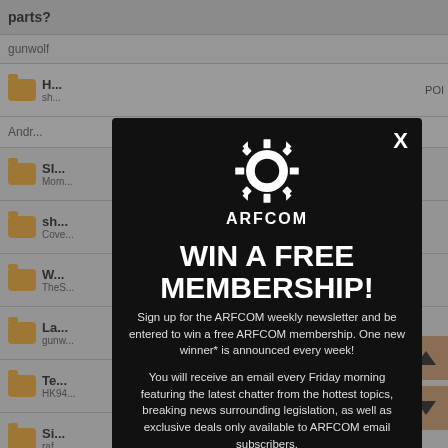[Figure (screenshot): Background showing a forum thread list with orange folder icons and grey rows, with usernames and partial thread titles visible. Rows include: parts?, gunwolf, H... sh..., Andr..., SI..., Mom..., sh..., Cove..., W..., TheS..., La..., gunw..., Te..., HK94..., Si..., raf]
[Figure (infographic): ARFCOM modal popup with dark background. Contains ARFCOM gear logo, headline WIN A FREE MEMBERSHIP!, body text about signing up for newsletter and winning, and an email input bar at the bottom. Close X button in top right.]
WIN A FREE MEMBERSHIP!
Sign up for the ARFCOM weekly newsletter and be entered to win a free ARFCOM membership. One new winner* is announced every week!
You will receive an email every Friday morning featuring the latest chatter from the hottest topics, breaking news surrounding legislation, as well as exclusive deals only available to ARFCOM email subscribers.